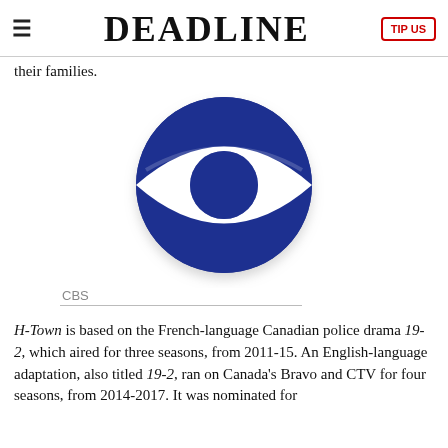≡  DEADLINE  TIP US
their families.
[Figure (logo): CBS eye logo — circular blue ring with an eye shape cutout in the center, and a blue circle (pupil) in the middle on white background]
CBS
H-Town is based on the French-language Canadian police drama 19-2, which aired for three seasons, from 2011-15. An English-language adaptation, also titled 19-2, ran on Canada's Bravo and CTV for four seasons, from 2014-2017. It was nominated for